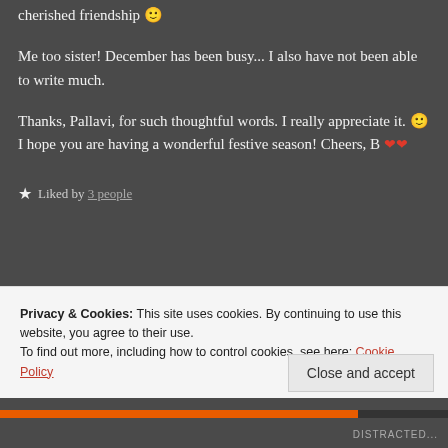cherished friendship 🙂
Me too sister! December has been busy... I also have not been able to write much.
Thanks, Pallavi, for such thoughtful words. I really appreciate it. 🙂 I hope you are having a wonderful festive season! Cheers, B ❤❤
★ Liked by 3 people
Privacy & Cookies: This site uses cookies. By continuing to use this website, you agree to their use.
To find out more, including how to control cookies, see here: Cookie Policy
Close and accept